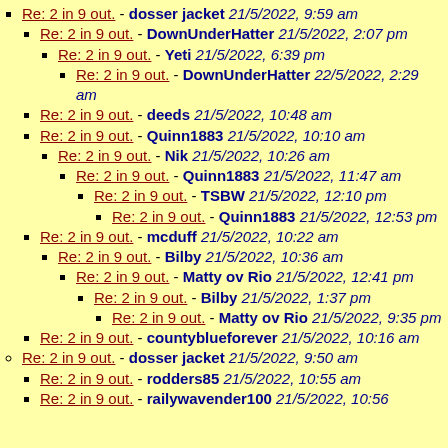Re: 2 in 9 out. - dosser jacket 21/5/2022, 9:59 am
Re: 2 in 9 out. - DownUnderHatter 21/5/2022, 2:07 pm
Re: 2 in 9 out. - Yeti 21/5/2022, 6:39 pm
Re: 2 in 9 out. - DownUnderHatter 22/5/2022, 2:29 am
Re: 2 in 9 out. - deeds 21/5/2022, 10:48 am
Re: 2 in 9 out. - Quinn1883 21/5/2022, 10:10 am
Re: 2 in 9 out. - Nik 21/5/2022, 10:26 am
Re: 2 in 9 out. - Quinn1883 21/5/2022, 11:47 am
Re: 2 in 9 out. - TSBW 21/5/2022, 12:10 pm
Re: 2 in 9 out. - Quinn1883 21/5/2022, 12:53 pm
Re: 2 in 9 out. - mcduff 21/5/2022, 10:22 am
Re: 2 in 9 out. - Bilby 21/5/2022, 10:36 am
Re: 2 in 9 out. - Matty ov Rio 21/5/2022, 12:41 pm
Re: 2 in 9 out. - Bilby 21/5/2022, 1:37 pm
Re: 2 in 9 out. - Matty ov Rio 21/5/2022, 9:35 pm
Re: 2 in 9 out. - countyblueforever 21/5/2022, 10:16 am
Re: 2 in 9 out. - dosser jacket 21/5/2022, 9:50 am
Re: 2 in 9 out. - rodders85 21/5/2022, 10:55 am
Re: 2 in 9 out. - railywavender100 21/5/2022, 10:56